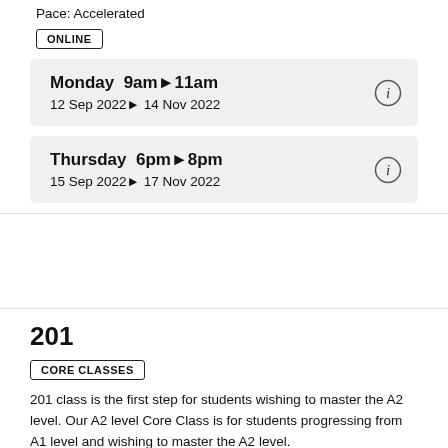Pace: Accelerated
ONLINE
Monday  9am▶11am
12 Sep 2022 ▶ 14 Nov 2022
Thursday  6pm▶8pm
15 Sep 2022 ▶ 17 Nov 2022
201
CORE CLASSES
201 class is the first step for students wishing to master the A2 level. Our A2 level Core Class is for students progressing from A1 level and wishing to master the A2 level.
Pace: Regular